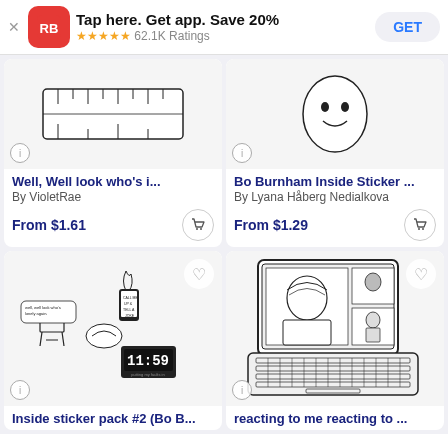[Figure (screenshot): App install banner for Redbubble app: RB logo, 'Tap here. Get app. Save 20%', 5 stars, 62.1K Ratings, GET button]
[Figure (photo): Product image top-left: ruler/keyboard sticker (partially visible)]
Well, Well look who&#39;s i...
By VioletRae
From $1.61
[Figure (photo): Product image top-right: face/smiley sticker (partially visible)]
Bo Burnham Inside Sticker ...
By Lyana Håberg Nedialkova
From $1.29
[Figure (photo): Inside sticker pack #2 (Bo B... - sticker pack with chair, phone on fire, hands, clock stickers]
Inside sticker pack #2 (Bo B...
[Figure (photo): reacting to me reacting to ... - laptop computer illustration sticker]
reacting to me reacting to ...